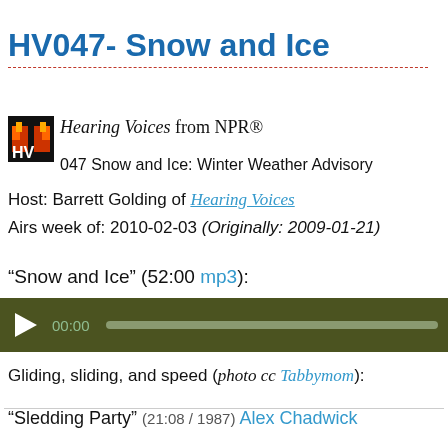HV047- Snow and Ice
Hearing Voices from NPR®
047 Snow and Ice: Winter Weather Advisory
Host: Barrett Golding of Hearing Voices
Airs week of: 2010-02-03 (Originally: 2009-01-21)
“Snow and Ice” (52:00 mp3):
[Figure (other): Audio player with play button, time display 00:00, and progress bar on dark olive green background]
Gliding, sliding, and speed (photo cc Tabbymom):
“Sledding Party” (21:08 / 1987) Alex Chadwick